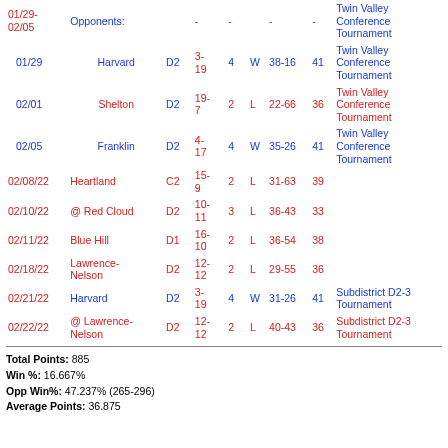| Date | Opponent | Div | Record | Rank | W/L | Score | Pts | Notes |
| --- | --- | --- | --- | --- | --- | --- | --- | --- |
| 01/29-02/05 | Opponents: | - | - | - | - |  |  | Twin Valley Conference Tournament |
| 01/29 | Harvard | D2 | 3-19 | 4 | W | 38-16 | 41 | Twin Valley Conference Tournament |
| 02/01 | Shelton | D2 | 19-7 | 2 | L | 22-66 | 36 | Twin Valley Conference Tournament |
| 02/05 | Franklin | D2 | 4-17 | 4 | W | 35-26 | 41 | Twin Valley Conference Tournament |
| 02/08/22 | Heartland | C2 | 15-9 | 2 | L | 31-63 | 39 |  |
| 02/10/22 | @ Red Cloud | D2 | 10-11 | 3 | L | 36-43 | 33 |  |
| 02/11/22 | Blue Hill | D1 | 16-10 | 2 | L | 36-54 | 38 |  |
| 02/18/22 | Lawrence-Nelson | D2 | 12-12 | 2 | L | 29-55 | 36 |  |
| 02/21/22 | Harvard | D2 | 3-19 | 4 | W | 31-26 | 41 | Subdistrict D2-3 Tournament |
| 02/22/22 | @ Lawrence-Nelson | D2 | 12-12 | 2 | L | 40-43 | 36 | Subdistrict D2-3 Tournament |
Total Points: 885
Win %: 16.667%
Opp Win%: 47.237% (265-296)
Average Points: 36.875